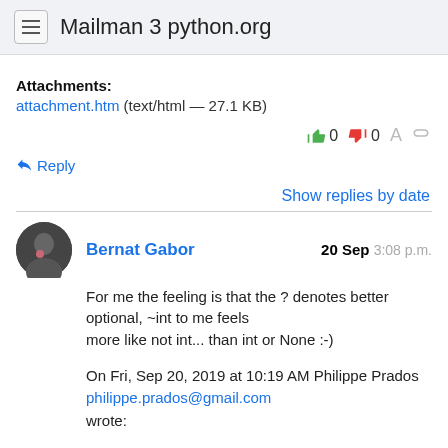Mailman 3 python.org
Attachments:
attachment.htm (text/html — 27.1 KB)
0  0
Reply
Show replies by date
Bernat Gabor  20 Sep  3:08 p.m.
For me the feeling is that the ? denotes better optional, ~int to me feels
more like not int... than int or None :-)
On Fri, Sep 20, 2019 at 10:19 AM Philippe Prados
philippe.prados@gmail.com
wrote: